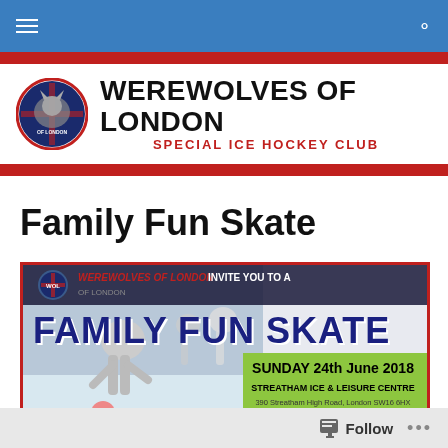Werewolves of London – Special Ice Hockey Club – navigation bar
[Figure (logo): Werewolves of London logo – circular badge with wolf and England cross]
WEREWOLVES OF LONDON
SPECIAL ICE HOCKEY CLUB
Family Fun Skate
[Figure (infographic): Werewolves of London invite you to a Family Fun Skate. Sunday 24th June 2018, Streatham Ice & Leisure Centre, 390 Streatham High Road, London SW16 6HX. Just £5. Everyone Welcome!]
Follow